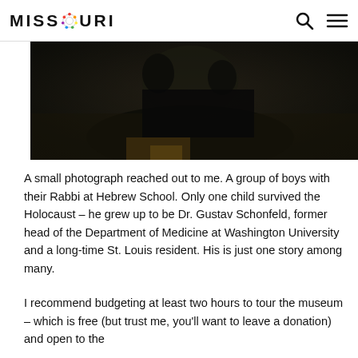MISSOURI
[Figure (photo): Dark photograph showing a group of people, partially cropped, dark background with warm tones at bottom]
A small photograph reached out to me. A group of boys with their Rabbi at Hebrew School. Only one child survived the Holocaust – he grew up to be Dr. Gustav Schonfeld, former head of the Department of Medicine at Washington University and a long-time St. Louis resident. His is just one story among many.
I recommend budgeting at least two hours to tour the museum – which is free (but trust me, you'll want to leave a donation) and open to the